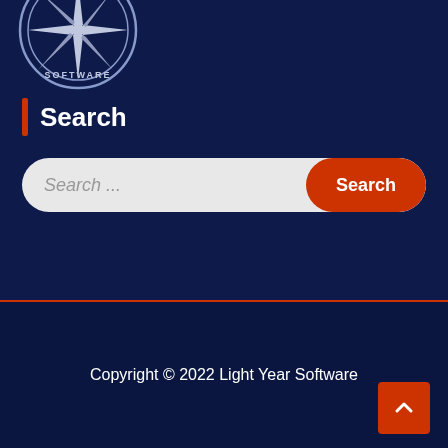[Figure (logo): Light Year Software circular logo with compass/star design at top left]
Search
Search ...
Search
Copyright © 2022 Light Year Software